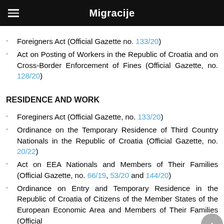Migracije
Foreigners Act (Official Gazette no. 133/20)
Act on Posting of Workers in the Republic of Croatia and on Cross-Border Enforcement of Fines (Official Gazette, no. 128/20)
RESIDENCE AND WORK
Foreginers Act (Official Gazette, no. 133/20)
Ordinance on the Temporary Residence of Third Country Nationals in the Republic of Croatia (Official Gazette, no. 20/22)
Act on EEA Nationals and Members of Their Families (Official Gazette, no. 66/19, 53/20 and 144/20)
Ordinance on Entry and Temporary Residence in the Republic of Croatia of Citizens of the Member States of the European Economic Area and Members of Their Families (Official